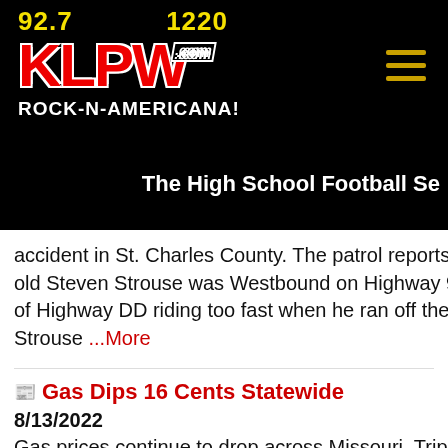[Figure (logo): KLPW radio station logo. Yellow frequency numbers 92.7 and 1220, red KLPW letters with white outline and .com badge, white ROCK-N-AMERICANA! tagline on black background.]
The High School Football Se
accident in St. Charles County. The patrol reports 33-old Steven Strouse was Westbound on Highway 94 E of Highway DD riding too fast when he ran off the roa Strouse ...More
Gas Dips 16 Cents Statewide
8/13/2022
Gas prices continue to drop across Missouri. Triple A